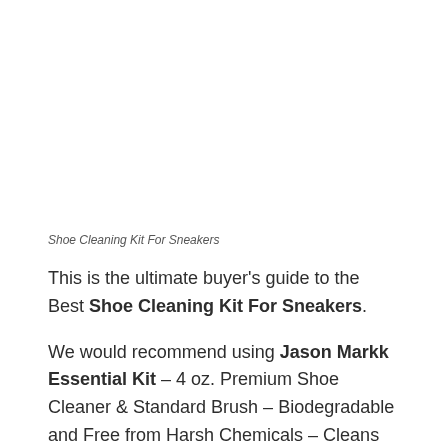[Figure (photo): Product image placeholder for Shoe Cleaning Kit For Sneakers]
Shoe Cleaning Kit For Sneakers
This is the ultimate buyer's guide to the Best Shoe Cleaning Kit For Sneakers.
We would recommend using Jason Markk Essential Kit – 4 oz. Premium Shoe Cleaner & Standard Brush – Biodegradable and Free from Harsh Chemicals – Cleans and Conditions up to 100 Pairs of Sneakers – Removes Dirt and Stains as it is